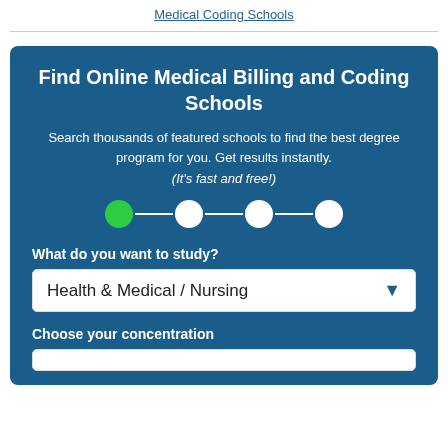Medical Coding Schools
Find Online Medical Billing and Coding Schools
Search thousands of featured schools to find the best degree program for you. Get results instantly.
(It's fast and free!)
[Figure (infographic): Step progress indicator with 4 circles connected by lines; first circle is green (active), remaining three are white outline]
What do you want to study?
Health & Medical / Nursing
Choose your concentration